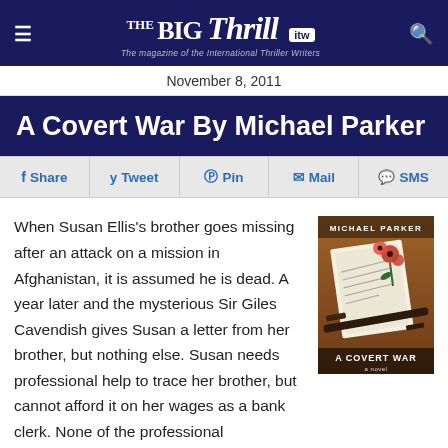The Big Thrill — The magazine of the International Thriller Writers
November 8, 2011
A Covert War By Michael Parker
Share | Tweet | Pin | Mail | SMS
When Susan Ellis's brother goes missing after an attack on a mission in Afghanistan, it is assumed he is dead. A year later and the mysterious Sir Giles Cavendish gives Susan a letter from her brother, but nothing else. Susan needs professional help to trace her brother, but cannot afford it on her wages as a bank clerk. None of the professional organisations or media are interested in her because she is not 'newsworthy'. She learns of the
[Figure (photo): Book cover for 'A Covert War' by Michael Parker, showing a letter/document with red flowers and a rifle on a warm brown background]